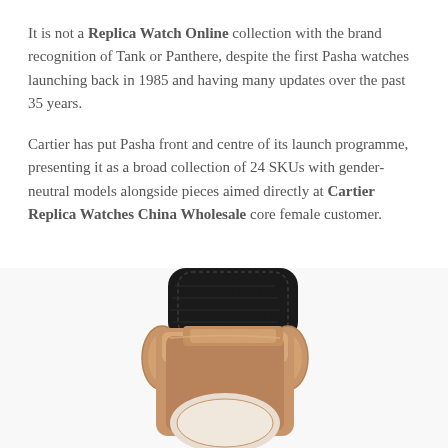It is not a Replica Watch Online collection with the brand recognition of Tank or Panthere, despite the first Pasha watches launching back in 1985 and having many updates over the past 35 years.
Cartier has put Pasha front and centre of its launch programme, presenting it as a broad collection of 24 SKUs with gender-neutral models alongside pieces aimed directly at Cartier Replica Watches China Wholesale core female customer.
[Figure (photo): Close-up photo of a luxury watch with a rose gold case and black crocodile leather strap, viewed from the top/back angle.]